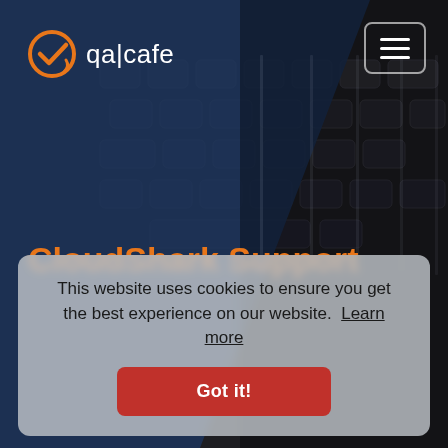[Figure (screenshot): QA Cafe website screenshot showing keyboard background, logo, hamburger menu, CloudShark Support heading, and cookie consent banner]
CloudShark Support
This website uses cookies to ensure you get the best experience on our website.  Learn more
Got it!